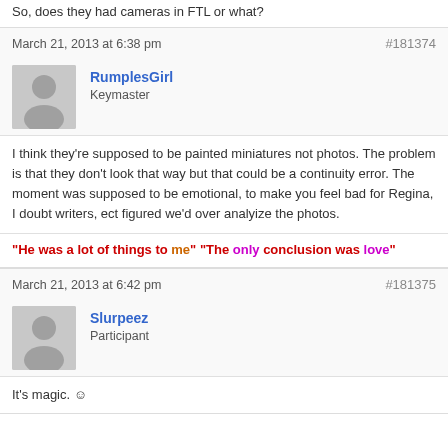So, does they had cameras in FTL or what?
March 21, 2013 at 6:38 pm
#181374
RumplesGirl
Keymaster
I think they're supposed to be painted miniatures not photos. The problem is that they don't look that way but that could be a continuity error. The moment was supposed to be emotional, to make you feel bad for Regina, I doubt writers, ect figured we'd over analyize the photos.
"He was a lot of things to me" "The only conclusion was love"
March 21, 2013 at 6:42 pm
#181375
Slurpeez
Participant
It's magic. ☺